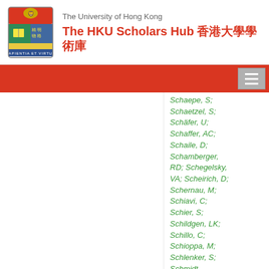The University of Hong Kong — The HKU Scholars Hub 香港大學學術庫
Schaepe, S;
Schaetzel, S;
Schäfer, U;
Schaffer, AC;
Schaile, D;
Schamberger, RD; Schegelsky, VA; Scheirich, D;
Schernau, M;
Schiavi, C;
Schier, S;
Schildgen, LK;
Schillo, C;
Schioppa, M;
Schlenker, S;
Schmidt-Sommerfeld, KR;
Schmieden, H;